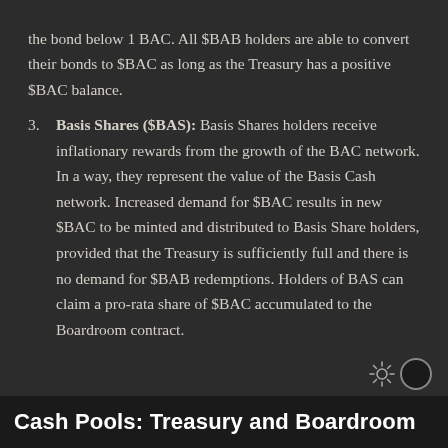the bond below 1 BAC. All $BAB holders are able to convert their bonds to $BAC as long as the Treasury has a positive $BAC balance.
3. Basis Shares ($BAS): Basis Shares holders receive inflationary rewards from the growth of the BAC network. In a way, they represent the value of the Basis Cash network. Increased demand for $BAC results in new $BAC to be minted and distributed to Basis Share holders, provided that the Treasury is sufficiently full and there is no demand for $BAB redemptions. Holders of BAS can claim a pro-rata share of $BAC accumulated to the Boardroom contract.
Cash Pools: Treasury and Boardroom